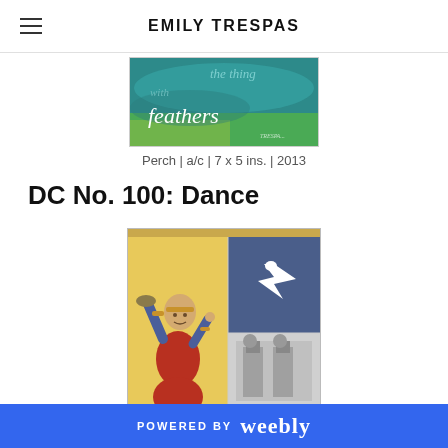EMILY TRESPAS
[Figure (illustration): Painting with teal and green background and handwritten-style text reading 'Hope is the thing with feathers']
Perch | a/c | 7 x 5 ins. | 2013
DC No. 100: Dance
[Figure (illustration): Collage artwork showing a medieval-style figure of a woman dancing with arms raised, wearing red and blue garments, alongside a white dove on blue background and a black-and-white architectural photo]
POWERED BY weebly